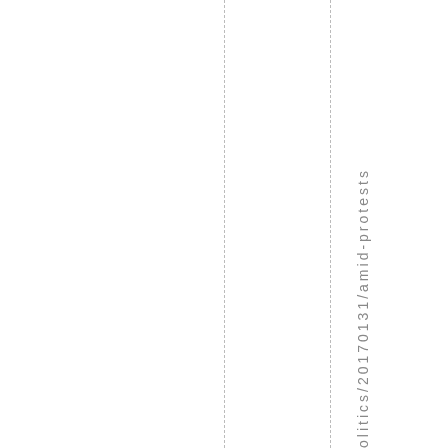olitics/20170131/amid-protests